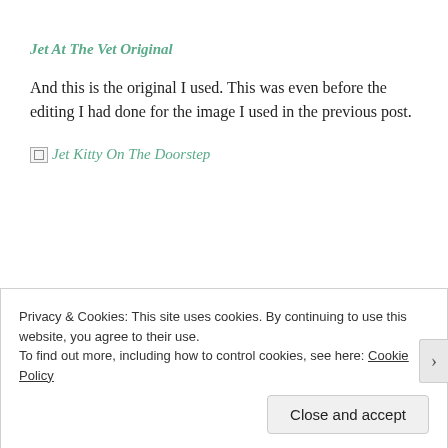Jet At The Vet Original
And this is the original I used. This was even before the editing I had done for the image I used in the previous post.
[Figure (photo): Broken image placeholder link labeled 'Jet Kitty On The Doorstep']
Privacy & Cookies: This site uses cookies. By continuing to use this website, you agree to their use.
To find out more, including how to control cookies, see here: Cookie Policy